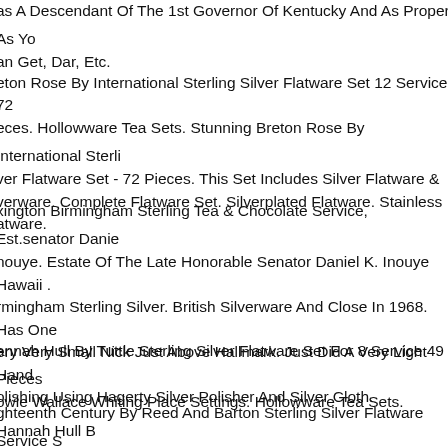as A Descendant Of The 1st Governor Of Kentucky And As Proper As You Can Get, Dar, Etc.
Breton Rose By International Sterling Silver Flatware Set 12 Service 72 Pieces. Hollowware Tea Sets. Stunning Breton Rose By International Sterling Silver Flatware Set - 72 Pieces. This Set Includes Silver Flatware & Silverware. Complete Flatware Set. Silverplated Flatware. Stainless Flatware.
Kington Birmingham Sterling Tea & Chocolate Service, Est.senator Daniel Inouye. Estate Of The Late Honorable Senator Daniel K. Inouye Hawaii . Birmingham Sterling Silver. British Silverware And Close In 1968. Has One Very Very Small Nick Just Above Hallmark. Just Did A Very Light Hand Polishing Using Hagerty Silver Polisher And Silver Cloth.
Hannah Hull By Tuttle Sterling Silver Flatware Set For 8 Service 49 Pieces. Towle Wallace Whiting Place Settings. Hollowware Tea Sets. Hannah Hull By Tuttle Sterling Silver Flatware Set, 49 Pieces. This Set Includes The Unadorned Hannah Hull Pattern, Known For Its Simple, Clean Lines, Was Inspired By Old Colonial Design And Was First Introduced By Tuttle In 1927.
Eighteenth Century By Reed And Barton Sterling Silver Flatware Service Set Pc. Towle Wallace Whiting Place Settings. Hollowware Tea Sets. This S